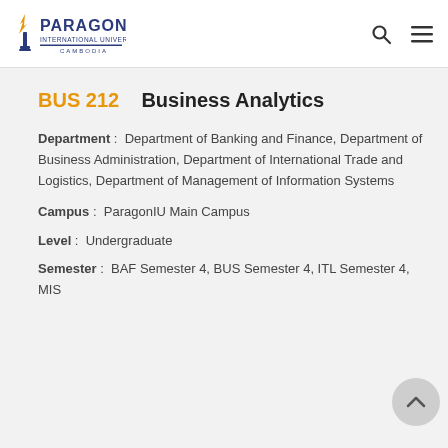[Figure (logo): Paragon International University logo with torch/flame icon and text PARAGON INTERNATIONAL UNIVERSITY CAMBODIA]
BUS 212    Business Analytics
Department :  Department of Banking and Finance, Department of Business Administration, Department of International Trade and Logistics, Department of Management of Information Systems
Campus :  ParagonIU Main Campus
Level :  Undergraduate
Semester :  BAF Semester 4, BUS Semester 4, ITL Semester 4, MIS